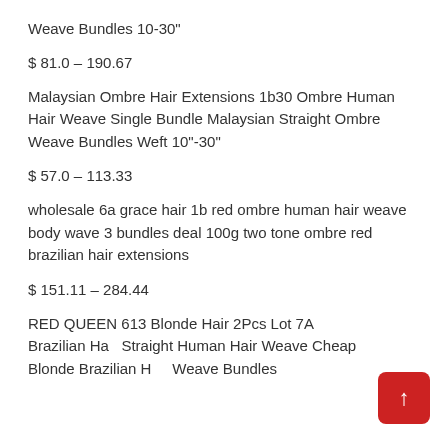Weave Bundles 10-30"
$ 81.0 – 190.67
Malaysian Ombre Hair Extensions 1b30 Ombre Human Hair Weave Single Bundle Malaysian Straight Ombre Weave Bundles Weft 10"-30"
$ 57.0 – 113.33
wholesale 6a grace hair 1b red ombre human hair weave body wave 3 bundles deal 100g two tone ombre red brazilian hair extensions
$ 151.11 – 284.44
RED QUEEN 613 Blonde Hair 2Pcs Lot 7A Brazilian Hair Straight Human Hair Weave Cheap Blonde Brazilian Hair Weave Bundles